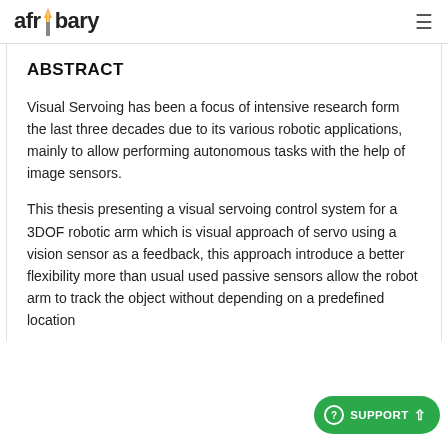afribary
ABSTRACT
Visual Servoing has been a focus of intensive research form the last three decades due to its various robotic applications, mainly to allow performing autonomous tasks with the help of image sensors.
This thesis presenting a visual servoing control system for a 3DOF robotic arm which is visual approach of servo using a vision sensor as a feedback, this approach introduce a better flexibility more than usual used passive sensors allow the robot arm to track the object without depending on a predefined location